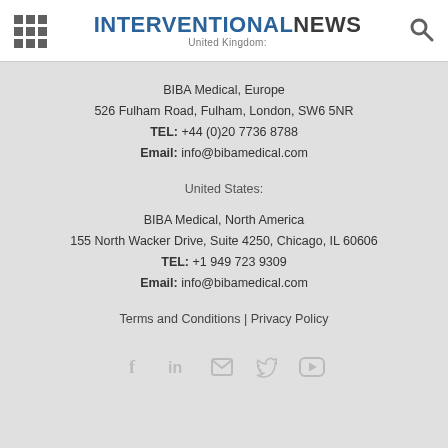INTERVENTIONAL NEWS — United Kingdom:
BIBA Medical, Europe
526 Fulham Road, Fulham, London, SW6 5NR
TEL: +44 (0)20 7736 8788
Email: info@bibamedical.com
United States:
BIBA Medical, North America
155 North Wacker Drive, Suite 4250, Chicago, IL 60606
TEL: +1 949 723 9309
Email: info@bibamedical.com
Terms and Conditions | Privacy Policy
[Figure (other): Social media icons row: Facebook, LinkedIn, Email, Twitter, YouTube]